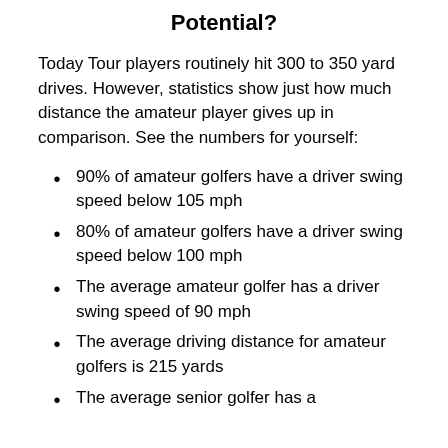Potential?
Today Tour players routinely hit 300 to 350 yard drives. However, statistics show just how much distance the amateur player gives up in comparison. See the numbers for yourself:
90% of amateur golfers have a driver swing speed below 105 mph
80% of amateur golfers have a driver swing speed below 100 mph
The average amateur golfer has a driver swing speed of 90 mph
The average driving distance for amateur golfers is 215 yards
The average senior golfer has a